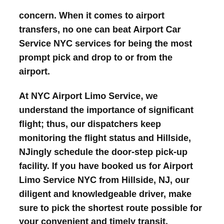concern. When it comes to airport transfers, no one can beat Airport Car Service NYC services for being the most prompt pick and drop to or from the airport.
At NYC Airport Limo Service, we understand the importance of significant flight; thus, our dispatchers keep monitoring the flight status and Hillside, NJingly schedule the door-step pick-up facility. If you have booked us for Airport Limo Service NYC from Hillside, NJ, our diligent and knowledgeable driver, make sure to pick the shortest route possible for your convenient and timely transit.
The highly skilled and talented chauffeur of luxury...